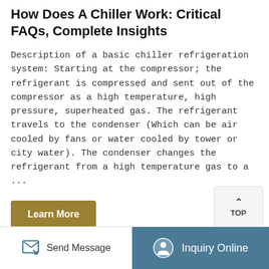How Does A Chiller Work: Critical FAQs, Complete Insights
Description of a basic chiller refrigeration system: Starting at the compressor; the refrigerant is compressed and sent out of the compressor as a high temperature, high pressure, superheated gas. The refrigerant travels to the condenser (Which can be air cooled by fans or water cooled by tower or city water). The condenser changes the refrigerant from a high temperature gas to a ...
Learn More
Send Message | Inquiry Online